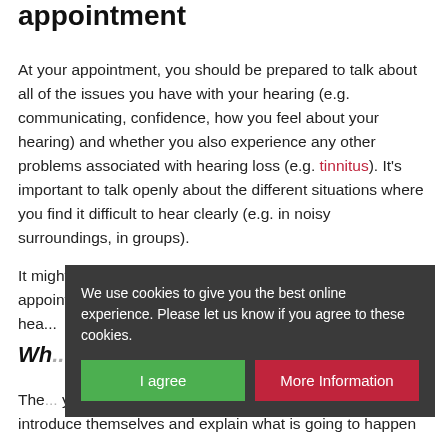appointment
At your appointment, you should be prepared to talk about all of the issues you have with your hearing (e.g. communicating, confidence, how you feel about your hearing) and whether you also experience any other problems associated with hearing loss (e.g. tinnitus). It's important to talk openly about the different situations where you find it difficult to hear clearly (e.g. in noisy surroundings, in groups).
It might be useful to take someone else with you to this appointment. There is often a lot to remember and two hea...
Wh...ns in a hearing test?
The ... your h... introduce themselves and explain what is going to happen
We use cookies to give you the best online experience. Please let us know if you agree to these cookies.